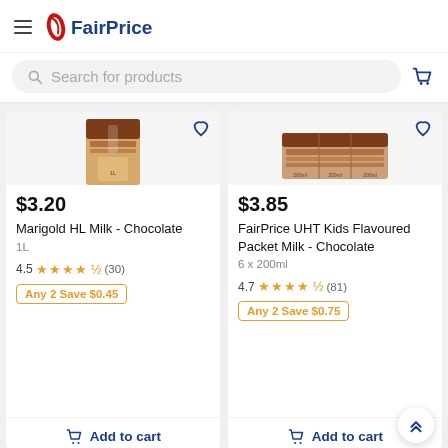FairPrice
Search for products
[Figure (screenshot): Marigold HL Milk Chocolate product image]
$3.20
Marigold HL Milk - Chocolate
1L
4.5 (30)
Any 2 Save $0.45
Add to cart
[Figure (screenshot): FairPrice UHT Kids Flavoured Packet Milk Chocolate product image]
$3.85
FairPrice UHT Kids Flavoured Packet Milk - Chocolate
6 x 200ml
4.7 (81)
Any 2 Save $0.75
Add to cart